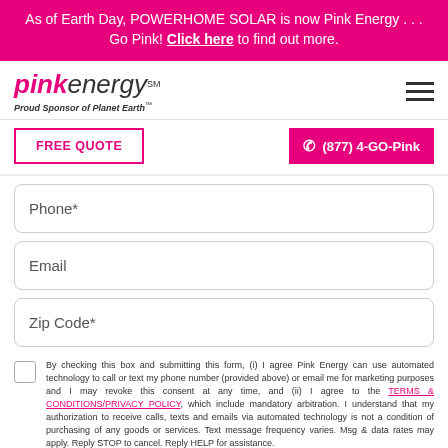As of Earth Day, POWERHOME SOLAR is now Pink Energy . . . Go Pink! Click here to find out more.
[Figure (logo): Pink Energy logo with tagline 'Proud Sponsor of Planet Earth']
FREE QUOTE
(877) 4-GO-Pink
Phone*
Email
Zip Code*
By checking this box and submitting this form, (i) I agree Pink Energy can use automated technology to call or text my phone number (provided above) or email me for marketing purposes and I may revoke this consent at any time, and (ii) I agree to the TERMS & CONDITIONS/PRIVACY POLICY, which include mandatory arbitration. I understand that my authorization to receive calls, texts and emails via automated technology is not a condition of purchasing of any goods or services. Text message frequency varies. Msg & data rates may apply. Reply STOP to cancel. Reply HELP for assistance.